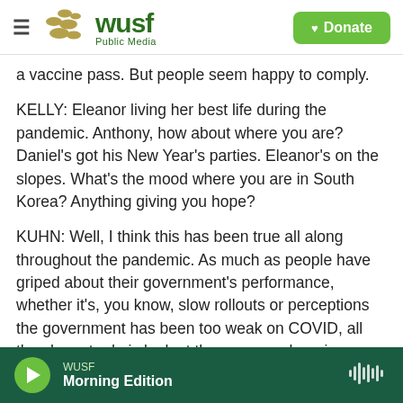WUSF Public Media — Donate
a vaccine pass. But people seem happy to comply.
KELLY: Eleanor living her best life during the pandemic. Anthony, how about where you are? Daniel's got his New Year's parties. Eleanor's on the slopes. What's the mood where you are in South Korea? Anything giving you hope?
KUHN: Well, I think this has been true all along throughout the pandemic. As much as people have griped about their government's performance, whether it's, you know, slow rollouts or perceptions the government has been too weak on COVID, all they have to do is look at the case numbers in
WUSF Morning Edition